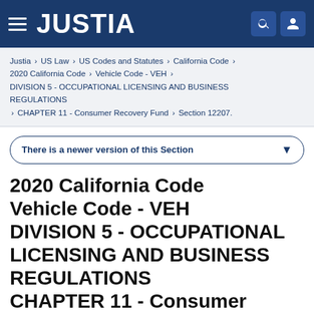JUSTIA
Justia › US Law › US Codes and Statutes › California Code › 2020 California Code › Vehicle Code - VEH › DIVISION 5 - OCCUPATIONAL LICENSING AND BUSINESS REGULATIONS › CHAPTER 11 - Consumer Recovery Fund › Section 12207.
There is a newer version of this Section
2020 California Code Vehicle Code - VEH DIVISION 5 - OCCUPATIONAL LICENSING AND BUSINESS REGULATIONS CHAPTER 11 - Consumer Recovery Fund Section 12207.